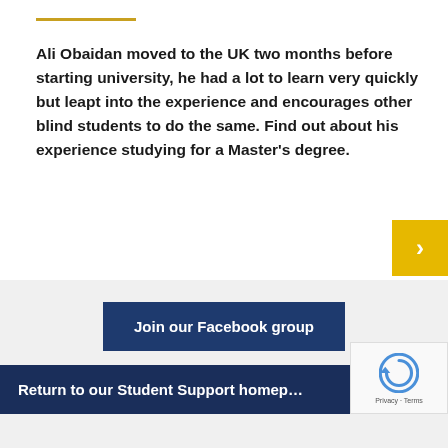Ali Obaidan moved to the UK two months before starting university, he had a lot to learn very quickly but leapt into the experience and encourages other blind students to do the same. Find out about his experience studying for a Master's degree.
Join our Facebook group
Return to our Student Support homep…